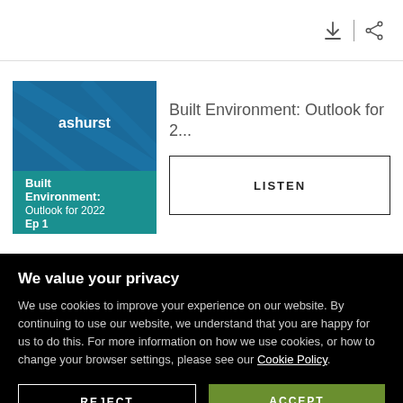[Figure (screenshot): Download and share icons in top right corner]
Built Environment: Outlook for 2...
[Figure (illustration): Ashurst Built Environment: Outlook for 2022 Ep 1 podcast cover art — teal/blue geometric background with Ashurst logo]
LISTEN
We value your privacy
We use cookies to improve your experience on our website. By continuing to use our website, we understand that you are happy for us to do this. For more information on how we use cookies, or how to change your browser settings, please see our Cookie Policy.
REJECT
ACCEPT